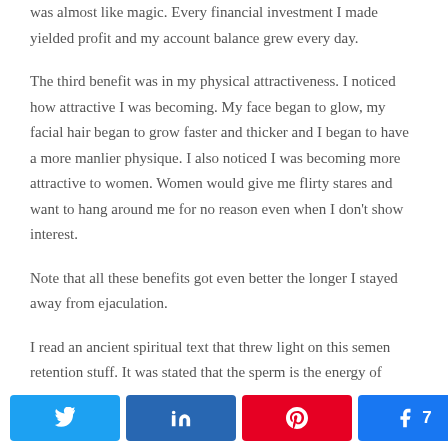was almost like magic. Every financial investment I made yielded profit and my account balance grew every day.
The third benefit was in my physical attractiveness. I noticed how attractive I was becoming. My face began to glow, my facial hair began to grow faster and thicker and I began to have a more manlier physique. I also noticed I was becoming more attractive to women. Women would give me flirty stares and want to hang around me for no reason even when I don't show interest.
Note that all these benefits got even better the longer I stayed away from ejaculation.
I read an ancient spiritual text that threw light on this semen retention stuff. It was stated that the sperm is the energy of
7 SHARES (Twitter, LinkedIn, Pinterest, Facebook share buttons)